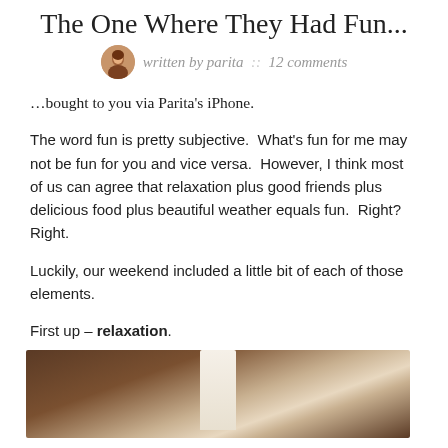The One Where They Had Fun...
written by parita  ::  12 comments
…bought to you via Parita's iPhone.
The word fun is pretty subjective.  What's fun for me may not be fun for you and vice versa.  However, I think most of us can agree that relaxation plus good friends plus delicious food plus beautiful weather equals fun.  Right?  Right.
Luckily, our weekend included a little bit of each of those elements.
First up – relaxation.
[Figure (photo): A photograph showing what appears to be a candle or cylindrical object on a wooden surface, partially cropped at the bottom of the page.]